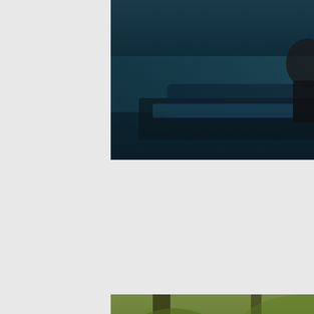[Figure (photo): Movie poster or promotional image showing a person in dark clothing, partially cropped, with a teal/blue toned dark background. Top portion of the image visible.]
[Figure (photo): Black rectangle, partially visible on the right side, cropped off at the right edge of the page.]
Tom's Act
[Figure (photo): Movie poster for 'THE BURIAL' showing a tall man in dark clothing holding what appears to be a weapon/bat, standing among trees in a forest setting. A smaller figure is visible behind him. Text 'THE BURIAL' appears at the bottom of the poster.]
[Figure (photo): Black rectangle, partially visible on the right side, cropped off at the right edge of the page.]